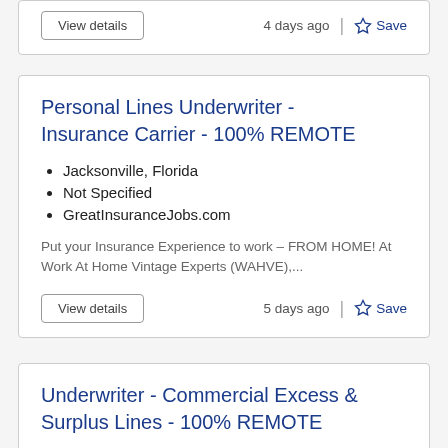View details    4 days ago  |  ☆ Save
Personal Lines Underwriter - Insurance Carrier - 100% REMOTE
Jacksonville, Florida
Not Specified
GreatInsuranceJobs.com
Put your Insurance Experience to work – FROM HOME! At Work At Home Vintage Experts (WAHVE),...
View details    5 days ago  |  ☆ Save
Underwriter - Commercial Excess & Surplus Lines - 100% REMOTE